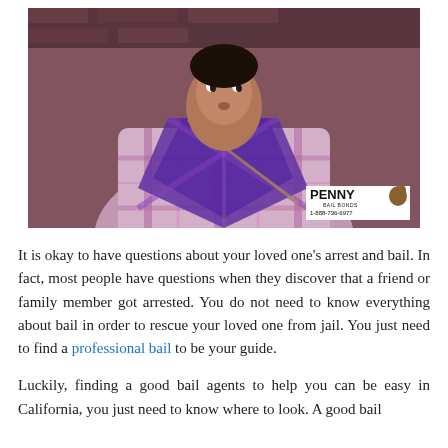[Figure (photo): A young person wearing a plaid shirt and plaid scarf in front of a brick wall. A Penny Bail Bonds logo with phone number 1-888-736-6977 is overlaid in the bottom right corner.]
It is okay to have questions about your loved one's arrest and bail. In fact, most people have questions when they discover that a friend or family member got arrested. You do not need to know everything about bail in order to rescue your loved one from jail. You just need to find a professional bail to be your guide.
Luckily, finding a good bail agents to help you can be easy in California, you just need to know where to look. A good bail